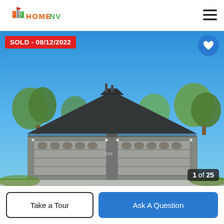[Figure (logo): HomeNV logo with stylized city skyline icon, orange HOME text and green NV text]
[Figure (photo): Exterior photo of a single-story home with dark hip roof, two two-car garage doors, concrete driveway, trees, blue sky. 'SOLD - 08/12/2022' red badge top left, heart favorite button top right, '1 of 25' counter bottom right.]
Take a Tour
Ask A Question